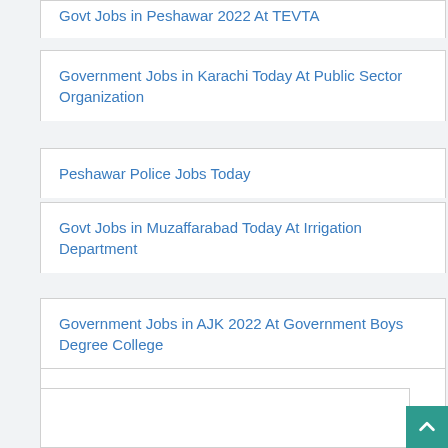Govt Jobs in Peshawar 2022 At TEVTA
Government Jobs in Karachi Today At Public Sector Organization
Peshawar Police Jobs Today
Govt Jobs in Muzaffarabad Today At Irrigation Department
Government Jobs in AJK 2022 At Government Boys Degree College
Government Jobs in Mansehra 2022 At Hazara University
Women University Mardan KPK Jobs Today